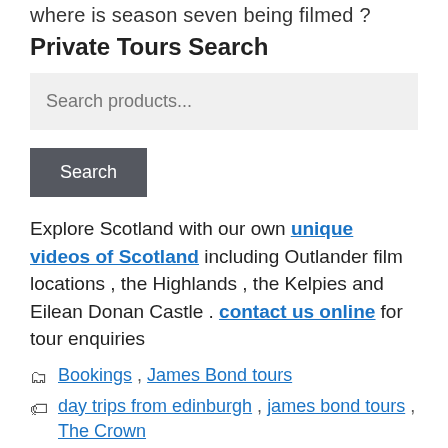where is season seven being filmed ?
Private Tours Search
[Figure (other): Search input field with placeholder 'Search products...' and a Search button below it]
Explore Scotland with our own unique videos of Scotland including Outlander film locations , the Highlands , the Kelpies and Eilean Donan Castle . contact us online for tour enquiries
Bookings , James Bond tours
day trips from edinburgh , james bond tours , The Crown